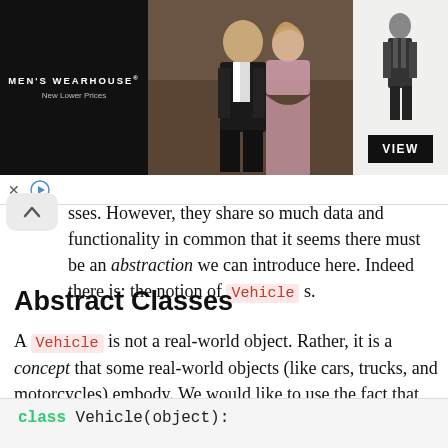[Figure (photo): Men's Wearhouse advertisement banner showing a couple in formal wear and a man in a suit, with black background on left and light background on right with VIEW button]
sses. However, they share so much data and functionality in common that it seems there must be an abstraction we can introduce here. Indeed there is: the notion of Vehicle s.
Abstract Classes
A Vehicle is not a real-world object. Rather, it is a concept that some real-world objects (like cars, trucks, and motorcycles) embody. We would like to use the fact that each of these objects can be considered a vehicle to remove repeated code. We can do that by creating a Vehicle class:
class Vehicle(object):